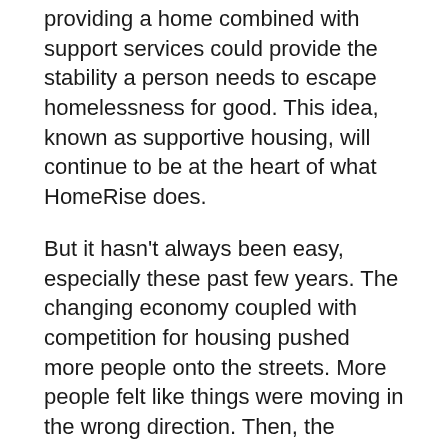providing a home combined with support services could provide the stability a person needs to escape homelessness for good. This idea, known as supportive housing, will continue to be at the heart of what HomeRise does.
But it hasn't always been easy, especially these past few years. The changing economy coupled with competition for housing pushed more people onto the streets. More people felt like things were moving in the wrong direction. Then, the pandemic showed us how many more of our neighbors were already living on the brink. News coverage called our city a failure. The human suffering became too much to bear. And San Francisco began to lose hope.
"HomeRise is our antidote to lost hope. It is the power of a stable home to help a person rise up from their circumstances after life has knocked them down. HomeRise is when everyday San Franciscans rise up and play their part to make a difference," said Rick Aubry, CEO of HomeRise.